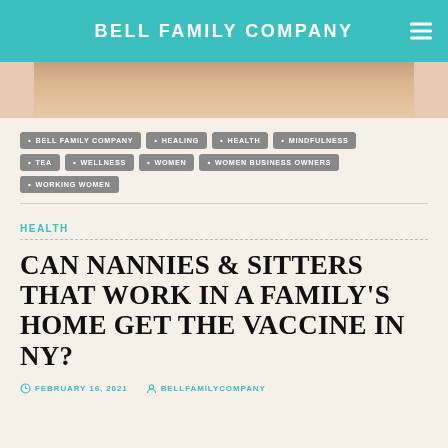BELL FAMILY COMPANY
[Figure (photo): Partial photo of a person's skin/arm, warm skin tones, cropped]
• BELL FAMILY COMPANY • HEALING • HEALTH • MINDFULNESS
• TEA • WELLNESS • WOMEN • WOMEN BUSINESS OWNERS
• WORKING WOMEN
HEALTH
CAN NANNIES & SITTERS THAT WORK IN A FAMILY'S HOME GET THE VACCINE IN NY?
FEBRUARY 16, 2021   BELLFAMILYCOMPANY